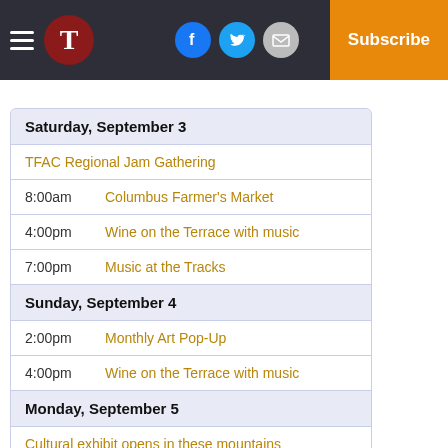T | Log In | Subscribe — navigation header with hamburger menu, logo, social icons
Saturday, September 3
TFAC Regional Jam Gathering
8:00am   Columbus Farmer's Market
4:00pm   Wine on the Terrace with music
7:00pm   Music at the Tracks
Sunday, September 4
2:00pm   Monthly Art Pop-Up
4:00pm   Wine on the Terrace with music
Monday, September 5
Cultural exhibit opens in these mountains
Tuesday, September 6
10:30am   Storytime